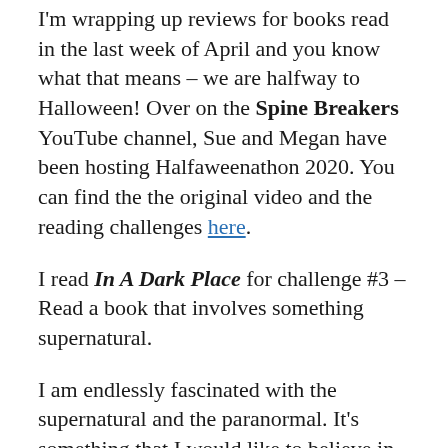I'm wrapping up reviews for books read in the last week of April and you know what that means – we are halfway to Halloween! Over on the Spine Breakers YouTube channel, Sue and Megan have been hosting Halfaweenathon 2020. You can find the the original video and the reading challenges here.
I read In A Dark Place for challenge #3 – Read a book that involves something supernatural.
I am endlessly fascinated with the supernatural and the paranormal. It's something that I would like to believe in, but thus far have not experienced anything that could not be rationally explained. I love reading "true" tales of hauntings, but they are all read with a grain of